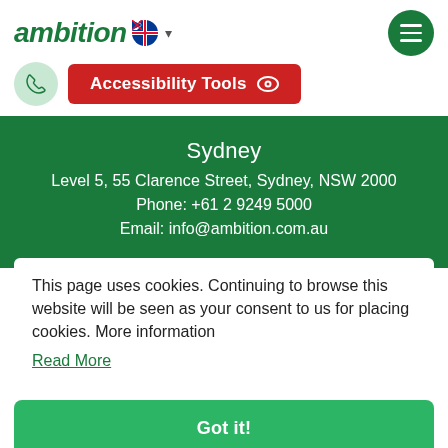[Figure (logo): Ambition company logo in italic green text with Australian flag icon and dropdown caret]
[Figure (other): Green circular menu hamburger button with three white horizontal lines]
[Figure (other): Light green circular phone icon button]
[Figure (other): Red rounded rectangle Accessibility Tools button with eye icon]
Sydney
Level 5, 55 Clarence Street, Sydney, NSW 2000
Phone: +61 2 9249 5000
Email: info@ambition.com.au
This page uses cookies. Continuing to browse this website will be seen as your consent to us for placing cookies. More information
Read More
Got it!
.